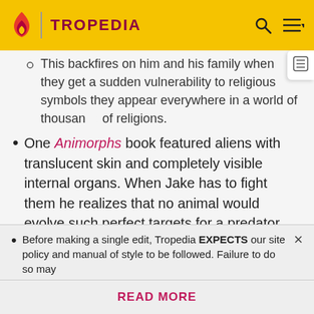TROPEDIA
This backfires on him and his family when they get a sudden vulnerability to religious symbols they appear everywhere in a world of thousands of religions.
One Animorphs book featured aliens with translucent skin and completely visible internal organs. When Jake has to fight them he realizes that no animal would evolve such perfect targets for a predator and deduces that they must be distractions. He hits one of the aliens in the one empty spot and it drops almost instantly..
Before making a single edit, Tropedia EXPECTS our site policy and manual of style to be followed. Failure to do so may